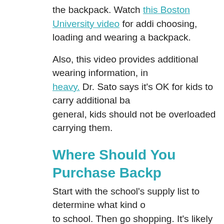the backpack. Watch this Boston University video for addi choosing, loading and wearing a backpack.
Also, this video provides additional wearing information, in heavy. Dr. Sato says it's OK for kids to carry additional ba general, kids should not be overloaded carrying them.
Where Should You Purchase Backp
Start with the school's supply list to determine what kind o to school. Then go shopping. It's likely that the more child you'll be. Both doctors agree that this is understandable, b consider your child's long-term musculoskeletal health wh automatically choose the cheapest option at a discount re for your child's size or needs.
Mo...